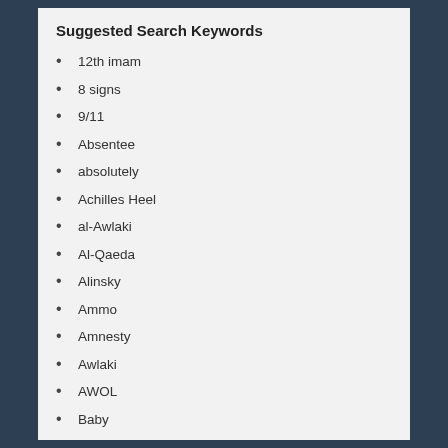Suggested Search Keywords
12th imam
8 signs
9/11
Absentee
absolutely
Achilles Heel
al-Awlaki
Al-Qaeda
Alinsky
Ammo
Amnesty
Awlaki
AWOL
Baby
Bailout
Bankrupt
Battle
Benghazi
bin Talal
Bio
Birth certificate
Black Panther
Budget